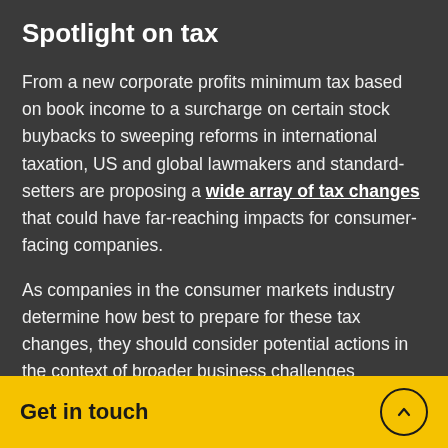Spotlight on tax
From a new corporate profits minimum tax based on book income to a surcharge on certain stock buybacks to sweeping reforms in international taxation, US and global lawmakers and standard-setters are proposing a wide array of tax changes that could have far-reaching impacts for consumer-facing companies.
As companies in the consumer markets industry determine how best to prepare for these tax changes, they should consider potential actions in the context of broader business challenges
Get in touch